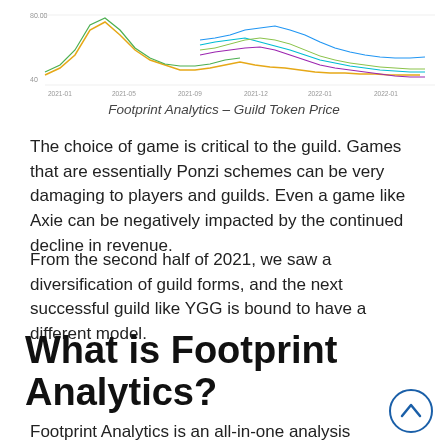[Figure (line-chart): Multi-line chart showing Guild Token Price over time from around 2021-01 to 2022-01. Multiple colored lines including yellow, green, blue, and purple lines showing various token price trends. Y-axis appears to show price values around 40-80 range.]
Footprint Analytics – Guild Token Price
The choice of game is critical to the guild. Games that are essentially Ponzi schemes can be very damaging to players and guilds. Even a game like Axie can be negatively impacted by the continued decline in revenue.
From the second half of 2021, we saw a diversification of guild forms, and the next successful guild like YGG is bound to have a different model.
What is Footprint Analytics?
Footprint Analytics is an all-in-one analysis platform to visualize blockchain data and discover insights. It cleans